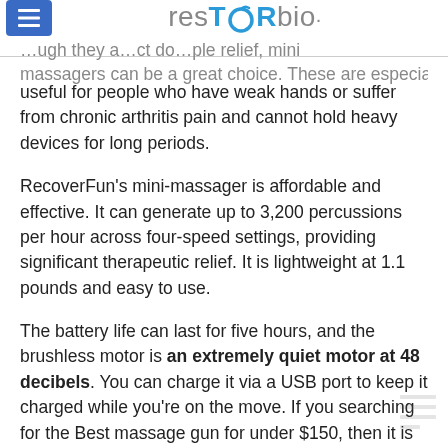Best Mini: RecoverFun Mini
[Figure (logo): resTORbio logo in blue and grey text]
…ugh they a…ct do…ple relief, mini massagers can be a great choice. These are especially useful for people who have weak hands or suffer from chronic arthritis pain and cannot hold heavy devices for long periods.
RecoverFun's mini-massager is affordable and effective. It can generate up to 3,200 percussions per hour across four-speed settings, providing significant therapeutic relief. It is lightweight at 1.1 pounds and easy to use.
The battery life can last for five hours, and the brushless motor is an extremely quiet motor at 48 decibels. You can charge it via a USB port to keep it charged while you're on the move. If you searching for the Best massage gun for under $150, then it is for you.